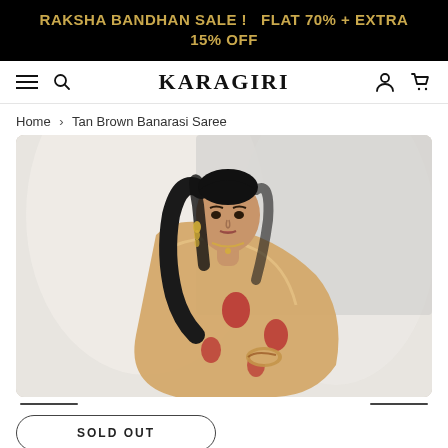RAKSHA BANDHAN SALE !   FLAT 70% + EXTRA 15% OFF
KARAGIRI
Home > Tan Brown Banarasi Saree
[Figure (photo): A woman wearing a tan brown Banarasi saree with red floral motifs, posing against a white draped fabric backdrop.]
SOLD OUT